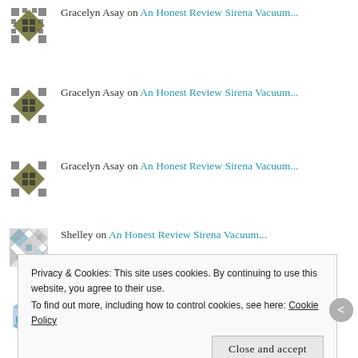Gracelyn Asay on An Honest Review Sirena Vacuum...
Gracelyn Asay on An Honest Review Sirena Vacuum...
Gracelyn Asay on An Honest Review Sirena Vacuum...
Shelley on An Honest Review Sirena Vacuum...
Malkanthi (Mal) Evan... on An Honest Review Sirena Vacuum...
Privacy & Cookies: This site uses cookies. By continuing to use this website, you agree to their use. To find out more, including how to control cookies, see here: Cookie Policy
Close and accept